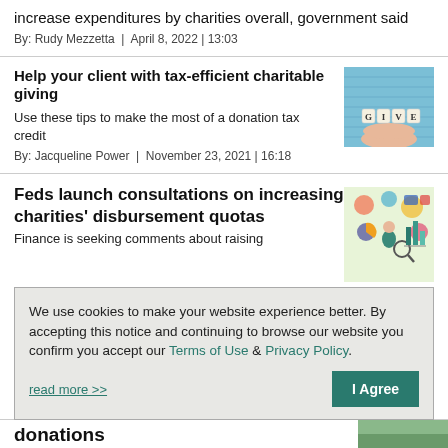increase expenditures by charities overall, government said
By: Rudy Mezzetta | April 8, 2022 | 13:03
Help your client with tax-efficient charitable giving
Use these tips to make the most of a donation tax credit
By: Jacqueline Power | November 23, 2021 | 16:18
[Figure (photo): Hands holding letter tiles spelling GIVE on a blue wooden background]
Feds launch consultations on increasing charities' disbursement quotas
Finance is seeking comments about raising
[Figure (illustration): Colorful illustration of a business person with charts and financial icons]
We use cookies to make your website experience better. By accepting this notice and continuing to browse our website you confirm you accept our Terms of Use & Privacy Policy.
read more >>
I Agree
donations
[Figure (photo): Partial photo at the bottom of the page]